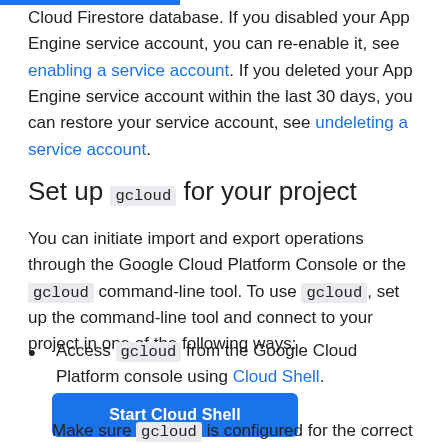Cloud Firestore database. If you disabled your App Engine service account, you can re-enable it, see enabling a service account. If you deleted your App Engine service account within the last 30 days, you can restore your service account, see undeleting a service account.
Set up gcloud for your project
You can initiate import and export operations through the Google Cloud Platform Console or the gcloud command-line tool. To use gcloud, set up the command-line tool and connect to your project in one of the following ways:
Access gcloud from the Google Cloud Platform console using Cloud Shell.
[Figure (other): Blue button labeled 'Start Cloud Shell']
Make sure gcloud is configured for the correct project: